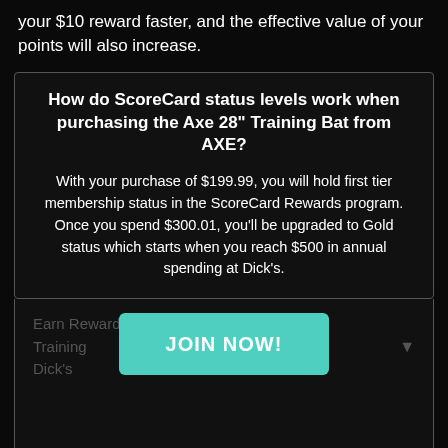your $10 reward faster, and the effective value of your points will also increase.
How do ScoreCard status levels work when purchasing the Axe 28" Training Bat from AXE?
With your purchase of $199.99, you will hold first tier membership status in the ScoreCard Rewards program. Once you spend $300.01, you'll be upgraded to Gold status which starts when you reach $500 in annual spending at Dick's.
Earn Rewards on a Axe 28" Training Bat from Dick's
JOIN NOW!
What's in this guide?